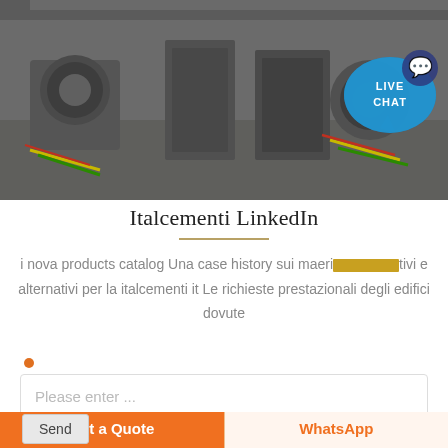[Figure (photo): Industrial machinery photo showing electric motors and transformers with colored wiring (yellow, green, red) in a factory setting, with a 'LIVE CHAT' speech bubble overlay in teal/blue in the top right]
Italcementi LinkedIn
i nova products catalog Una case history sui ma eri[REDACTED]tivi e alternativi per la italcementi it Le richieste prestazionali degli edifici dovute
Please enter ...
Get a Quote
WhatsApp
Send